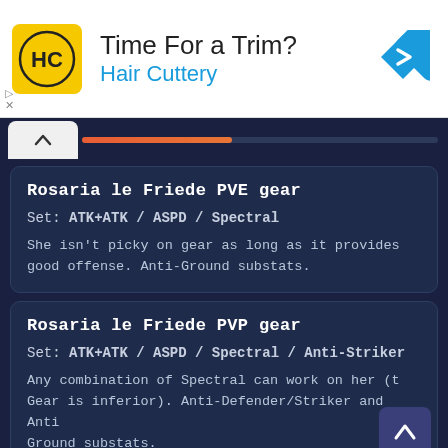[Figure (other): Advertisement banner for Hair Cuttery with logo, headline 'Time For a Trim?' and blue arrow navigation icon]
Rosaria le Friede PVE gear
Set: ATK+ATK / ASPD / Spectral
She isn't picky on gear as long as it provides good offense. Anti-Ground substats.
Rosaria le Friede PVP gear
Set: ATK+ATK / ASPD / Spectral / Anti-Striker
Any combination of Spectral can work on her (t Gear is inferior). Anti-Defender/Striker and Anti Ground substats.